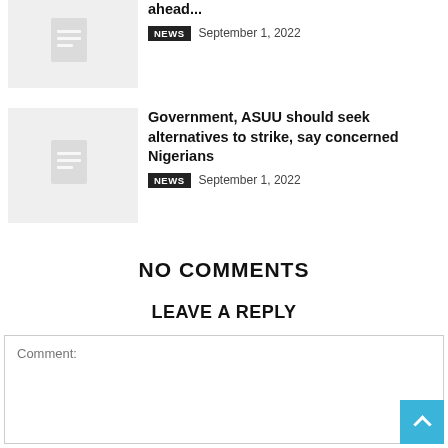[Figure (illustration): Thumbnail placeholder image with document icon]
ahead...
NEWS  September 1, 2022
[Figure (illustration): Thumbnail placeholder image with document icon]
Government, ASUU should seek alternatives to strike, say concerned Nigerians
NEWS  September 1, 2022
NO COMMENTS
LEAVE A REPLY
Comment: